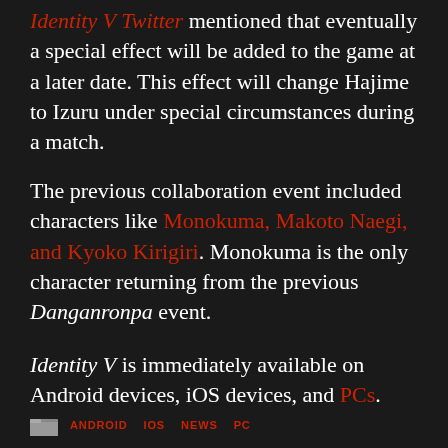Identity V Twitter mentioned that eventually a special effect will be added to the game at a later date. This effect will change Hajime to Izuru under special circumstances during a match.
The previous collaboration event included characters like Monokuma, Makoto Naegi, and Kyoko Kirigiri. Monokuma is the only character returning from the previous Danganronpa event.
Identity V is immediately available on Android devices, iOS devices, and PCs.
ANDROID  IOS  NEWS  PC